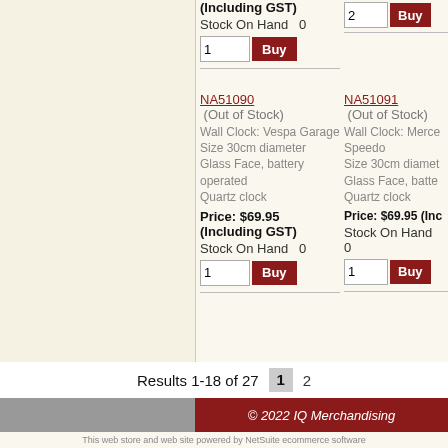(Including GST)
Stock On Hand   0
2  Buy
1  Buy
NA51090
(Out of Stock)
Wall Clock: Vespa Garage
Size 30cm diameter
Glass Face, battery operated
Quartz clock
Price: $69.95 (Including GST)
Stock On Hand   0
1  Buy
NA51091
(Out of Stock)
Wall Clock: Mercedes Speedo
Size 30cm diameter
Glass Face, battery operated
Quartz clock
Price: $69.95 (Inc...
Stock On Hand   0
1  Buy
Results 1-18 of 27
1  2
© 2022 IQ Merchandising
This web store and web site powered by NetSuite ecommerce software